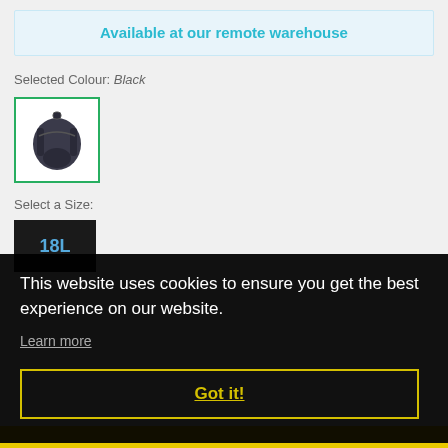Available at our remote warehouse
Selected Colour: Black
[Figure (photo): Black backpack thumbnail with green border selection indicator]
Select a Size:
18L
This website uses cookies to ensure you get the best experience on our website.
Learn more
Got it!
Quantity
1 6